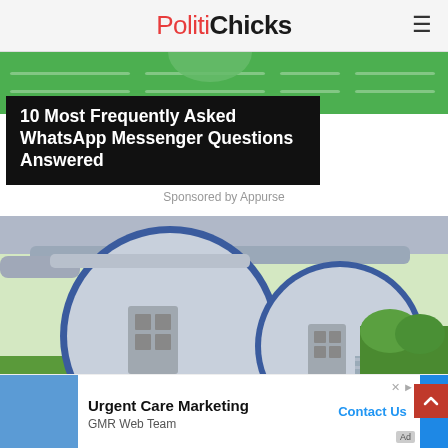PolitiChicks
[Figure (photo): Green banner strip at top of website with navigation lines]
10 Most Frequently Asked WhatsApp Messenger Questions Answered
Sponsored by Appurse
[Figure (photo): Photo of aircraft engine pods converted into cylindrical rooms/pods with doors and windows, located in a field]
[Figure (photo): Advertisement banner: Urgent Care Marketing - GMR Web Team - Contact Us]